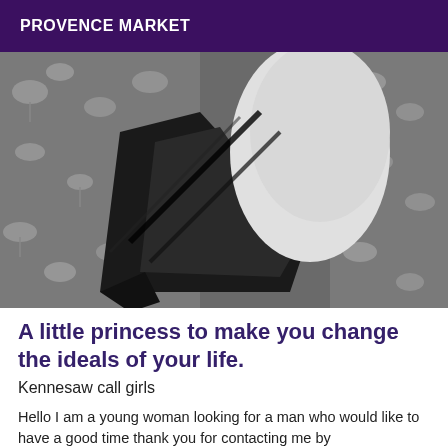PROVENCE MARKET
[Figure (photo): Black and white photograph showing a person lying on a floral patterned surface, wearing high heels.]
A little princess to make you change the ideals of your life.
Kennesaw call girls
Hello I am a young woman looking for a man who would like to have a good time thank you for contacting me by